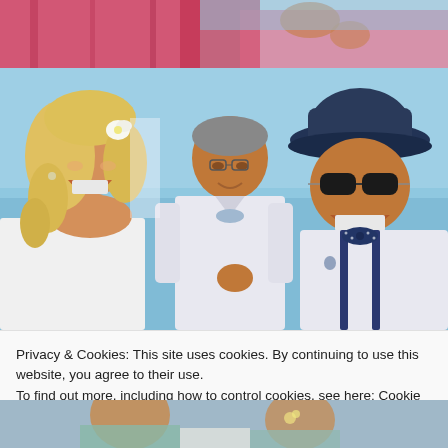[Figure (photo): Top portion of wedding photo showing red/pink dresses and people at what appears to be an outdoor celebration]
[Figure (photo): Wedding celebration photo showing a smiling blonde bride with a flower in her hair, a man in a white shirt with bow tie holding something, and another man wearing sunglasses and a navy fedora hat with a blue bow tie and suspenders, all laughing outdoors near water]
Privacy & Cookies: This site uses cookies. By continuing to use this website, you agree to their use.
To find out more, including how to control cookies, see here: Cookie Policy
[Figure (photo): Bottom portion of another wedding photo showing people in light blue/teal attire]